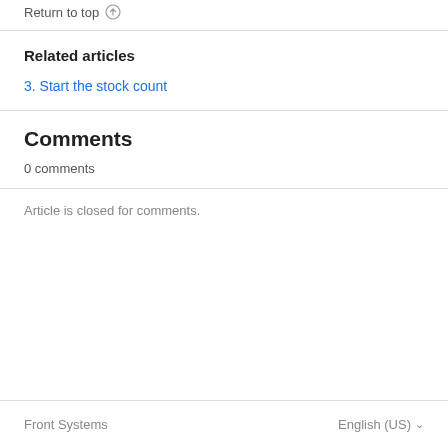Return to top
Related articles
3. Start the stock count
Comments
0 comments
Article is closed for comments.
Front Systems  English (US)